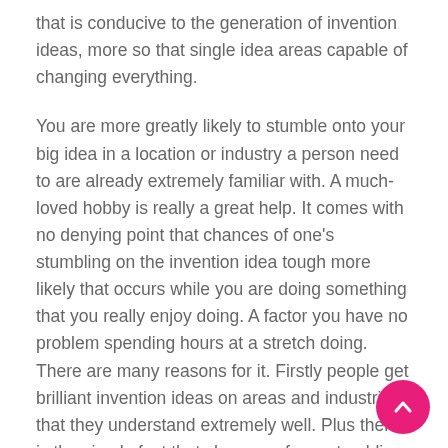that is conducive to the generation of invention ideas, more so that single idea areas capable of changing everything.

You are more greatly likely to stumble onto your big idea in a location or industry a person need to are already extremely familiar with. A much-loved hobby is really a great help. It comes with no denying point that chances of one's stumbling on the invention idea tough more likely that occurs while you are doing something that you really enjoy doing. A factor you have no problem spending hours at a stretch doing. There are many reasons for it. Firstly people get brilliant invention ideas on areas and industries that they understand extremely well. Plus there is the simple fact that chances of you stumbling on a really good invention idea increase the more time you